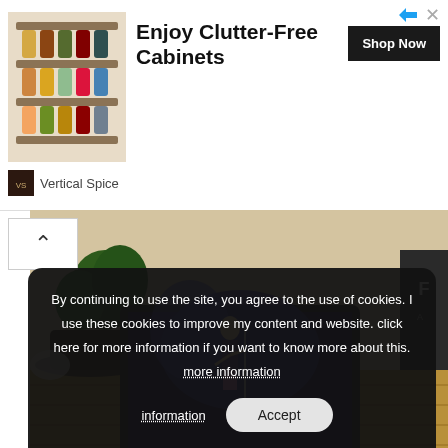[Figure (screenshot): Advertisement banner for Vertical Spice showing a spice rack organizer product. Headline reads 'Enjoy Clutter-Free Cabinets' with a 'Shop Now' button. Brand logo and name 'Vertical Spice' shown at bottom left. Arrow and close icons at top right.]
[Figure (photo): Photo of a laptop (ASUS) placed on a wooden table in a home setting, with a performer (Jennifer Lopez) visible on the laptop screen during a concert performance. Plants and a framed sign visible in background.]
in UNCATEGORIZED
REASONS WHY YOU SHOULD WATCH 'HALFTIME' DOCUMENTARY ABOUT JENNIFER LOPEZ
By continuing to use the site, you agree to the use of cookies. I use these cookies to improve my content and website. click here for more information if you want to know more about this. more information  Accept